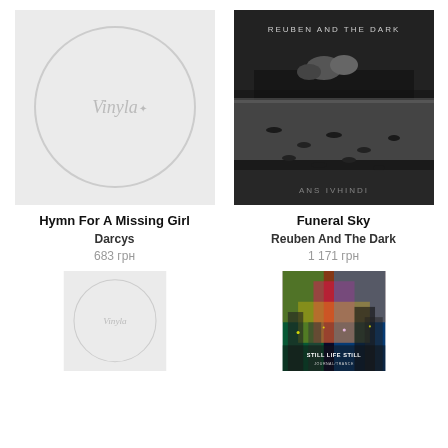[Figure (illustration): Light gray square album cover placeholder with a circle in the center and 'Vinyla' script text inside, for Hymn For A Missing Girl by Darcys]
Hymn For A Missing Girl
Darcys
683 грн
[Figure (photo): Black and white album cover showing birds in water with cityscapes in background and text 'REUBEN AND THE DARK' at top and 'ANS IVHINDI' at bottom, for Funeral Sky]
Funeral Sky
Reuben And The Dark
1 171 грн
[Figure (illustration): Light gray square album cover placeholder with a circle in the center and 'Vinyla' script text inside (partially visible, bottom cropped)]
[Figure (photo): Colorful vibrant album cover with psychedelic city imagery and text 'STILL LIFE STILL' visible, partially cropped at bottom]